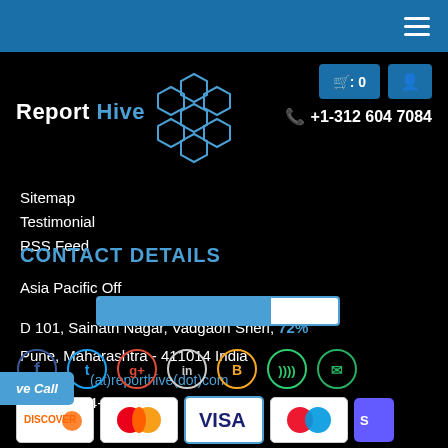[Figure (screenshot): ReportHive website header with top blue bar, hamburger menu, logo with honeycomb graphic, cart button showing 0, user icon, phone number +1-312 604 7084]
Sitemap
Testimonial
RSS Feed
CONTACT DETAILS
Asia Pacific Office
D 101, Sainath Nagar, Vadgaon Sheri, 72%
Pune, Maharashtra - 411014 India
(at)reporthive(dot)com
+1-312-604-7084
[Figure (other): Social media icons row: Facebook, Twitter, Google+, LinkedIn, Blogger, RSS, Email]
[Figure (other): Payment method logos: Discover, Mastercard, visa-blue, Maestro/other]